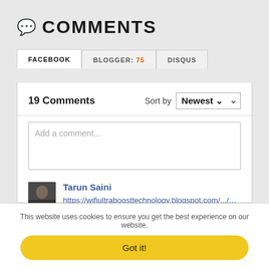💬 COMMENTS
FACEBOOK | BLOGGER: 75 | DISQUS
19 Comments  Sort by Newest
Add a comment...
Tarun Saini
https://wifiultraboosttechnology.blogspot.com/.../wifi...
https://top10bestreviewsinindia.blogspot.com/.../top-10...
This website uses cookies to ensure you get the best experience on our website.
Got it!